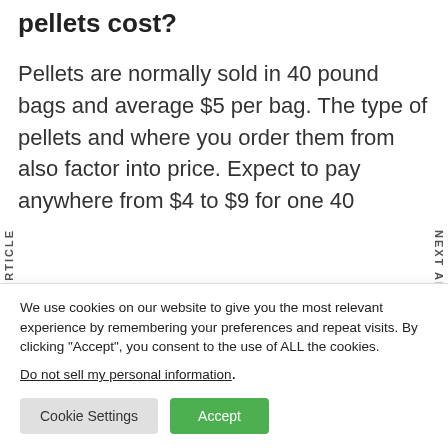pellets cost?
Pellets are normally sold in 40 pound bags and average $5 per bag. The type of pellets and where you order them from also factor into price. Expect to pay anywhere from $4 to $9 for one 40
We use cookies on our website to give you the most relevant experience by remembering your preferences and repeat visits. By clicking “Accept”, you consent to the use of ALL the cookies.
Do not sell my personal information.